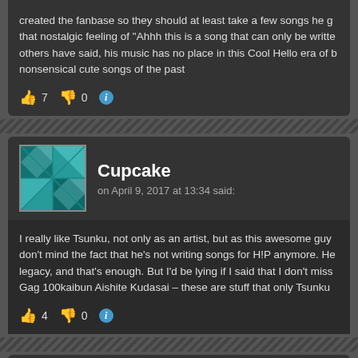created the fanbase so they should at least take a few songs he g... that nostalgic feeling of "Ahhh this is a song that can only be writt... others have said, his music has no place in this Cool Hello era of b... nonsensical cute songs of the past
👍 7  👎 0  ℹ
Cupcake
on April 9, 2017 at 13:34 said:
I really like Tsunku, not only as an artist, but as this awesome guy... don't mind the fact that he's not writing songs for H!P anymore. He... legacy, and that's enough. But I'd be lying if I said that I don't miss... Gag 100kaibun Aishite Kudasai – these are stuff that only Tsunku
👍 4  👎 0  ℹ